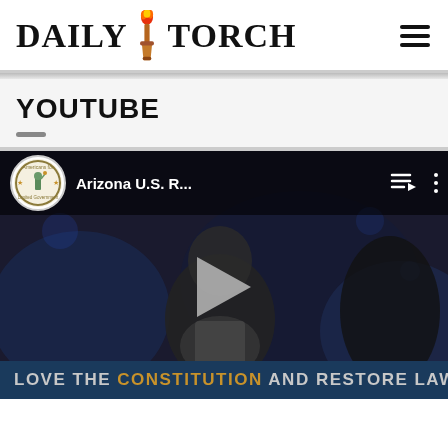DAILY TORCH
YOUTUBE
[Figure (screenshot): YouTube video player showing 'Arizona U.S. R...' from Americans for Limited Government channel, with play button overlay and bottom banner reading 'LOVE THE CONSTITUTION AND RESTORE LAW']